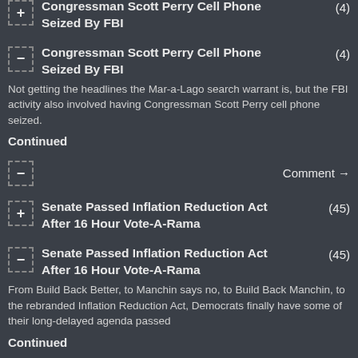+ Congressman Scott Perry Cell Phone Seized By FBI (4)
− Congressman Scott Perry Cell Phone Seized By FBI (4)
Not getting the headlines the Mar-a-Lago search warrant is, but the FBI activity also involved having Congressman Scott Perry cell phone seized.
Continued
− Comment →
+ Senate Passed Inflation Reduction Act After 16 Hour Vote-A-Rama (45)
− Senate Passed Inflation Reduction Act After 16 Hour Vote-A-Rama (45)
From Build Back Better, to Manchin says no, to Build Back Manchin, to the rebranded Inflation Reduction Act, Democrats finally have some of their long-delayed agenda passed
Continued